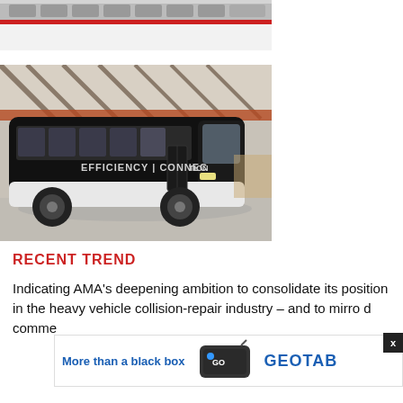[Figure (photo): Partial view of a white bus with a red stripe, cropped at the top of the page]
[Figure (photo): Black bus with 'EFFICIENCY | CONNECTION' text on its side, parked inside an industrial shed/garage]
RECENT TREND
Indicating AMA's deepening ambition to consolidate its position in the heavy vehicle collision-repair industry – and to mirro... d comme...
[Figure (advertisement): Geotab advertisement featuring a GPS tracking device and text 'More than a black box' with GEOTAB GO branding]